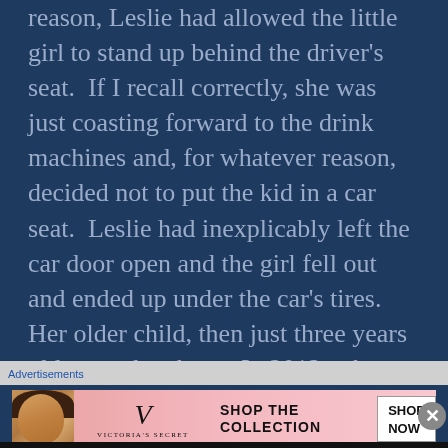reason, Leslie had allowed the little girl to stand up behind the driver's seat.  If I recall correctly, she was just coasting forward to the drink machines and, for whatever reason, decided not to put the kid in a car seat.  Leslie had inexplicably left the car door open and the girl fell out and ended up under the car's tires.  Her older child, then just three years old, was also there.  In 2012, when he was 21 years old, that child would also die in a car accident.  I have to wonder if the accident was really an accident or if
Advertisements
[Figure (other): Victoria's Secret advertisement banner with a woman's photo, logo, 'SHOP THE COLLECTION' text, and 'SHOP NOW' button on a pink gradient background.]